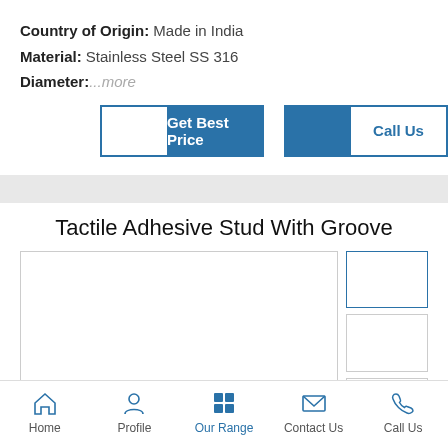Country of Origin: Made in India
Material: Stainless Steel SS 316
Diameter:...more
Get Best Price | Call Us
Tactile Adhesive Stud With Groove
[Figure (photo): Product image area showing Tactile Adhesive Stud With Groove with main image and thumbnail column]
Home  Profile  Our Range  Contact Us  Call Us